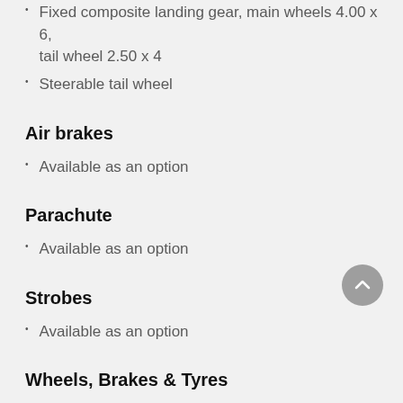Fixed composite landing gear, main wheels 4.00 x 6, tail wheel 2.50 x 4
Steerable tail wheel
Air brakes
Available as an option
Parachute
Available as an option
Strobes
Available as an option
Wheels, Brakes & Tyres